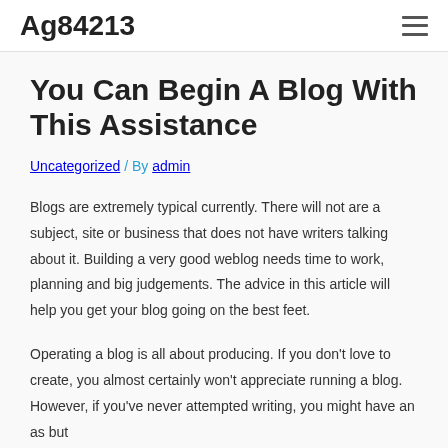Ag84213
You Can Begin A Blog With This Assistance
Uncategorized / By admin
Blogs are extremely typical currently. There will not are a subject, site or business that does not have writers talking about it. Building a very good weblog needs time to work, planning and big judgements. The advice in this article will help you get your blog going on the best feet.
Operating a blog is all about producing. If you don't love to create, you almost certainly won't appreciate running a blog. However, if you've never attempted writing, you might have an as but